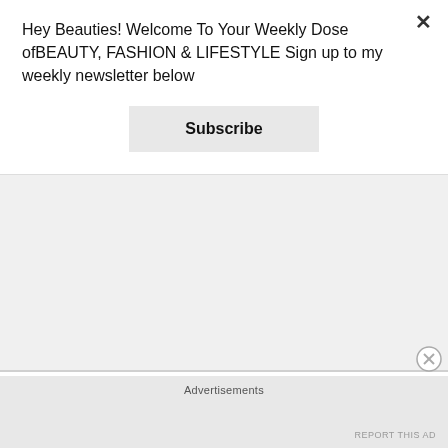Hey Beauties! Welcome To Your Weekly Dose ofBEAUTY, FASHION & LIFESTYLE Sign up to my weekly newsletter below
Subscribe
Lifestyle (10)
Lipstick (5)
LiveGlam (1)
Loccitane (3)
Lookbook (3)
Lush (2)
MAC Cosmetics (2)
Makeup (37)
Makeup Revolution London (3)
Morphe (2)
Advertisements
REPORT THIS AD